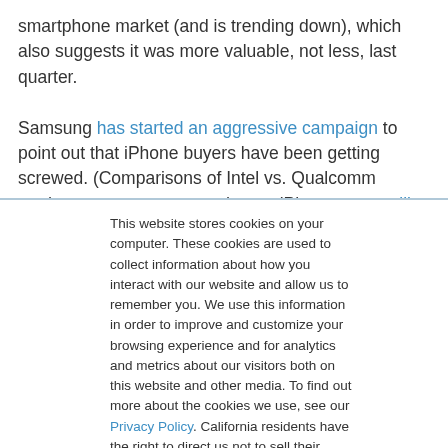smartphone market (and is trending down), which also suggests it was more valuable, not less, last quarter.
Samsung has started an aggressive campaign to point out that iPhone buyers have been getting screwed. (Comparisons of Intel vs. Qualcomm modems suggest more and more iPhone users will be paying a premium for underperforming phones).
This website stores cookies on your computer. These cookies are used to collect information about how you interact with our website and allow us to remember you. We use this information in order to improve and customize your browsing experience and for analytics and metrics about our visitors both on this website and other media. To find out more about the cookies we use, see our Privacy Policy. California residents have the right to direct us not to sell their personal information to third parties by filing an Opt-Out Request: Do Not Sell My Personal Info.
Accept